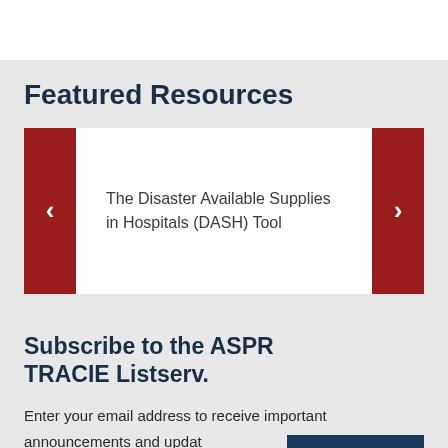Featured Resources
The Disaster Available Supplies in Hospitals (DASH) Tool
Subscribe to the ASPR TRACIE Listserv.
Enter your email address to receive important announcements and updates from the ASPR TRACIE Listserv.
Back to top ↑